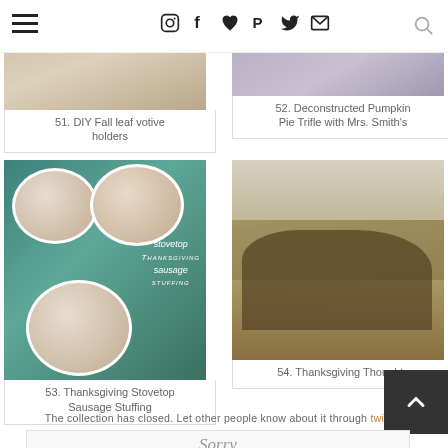Navigation bar with hamburger menu, social icons (Instagram, Facebook, heart, Pinterest, Twitter, email), and search
[Figure (photo): Partially visible image for item 51 - DIY Fall leaf votive holders]
51. DIY Fall leaf votive holders
[Figure (photo): Partially visible image for item 52 - Deconstructed Pumpkin Pie Trifle with Mrs. Smith's]
52. Deconstructed Pumpkin Pie Trifle with Mrs. Smith's
[Figure (photo): Food photo showing ramekins with stovetop Thanksgiving sausage stuffing on teal background]
53. Thanksgiving Stovetop Sausage Stuffing
[Figure (photo): Historical painting of Thanksgiving scene with pilgrims praying outdoors]
54. Thanksgiving Thoughts
The collection has closed. Let other people know about it through twitter.
[Figure (screenshot): Partial view of a Sorry message box at the bottom of the page]